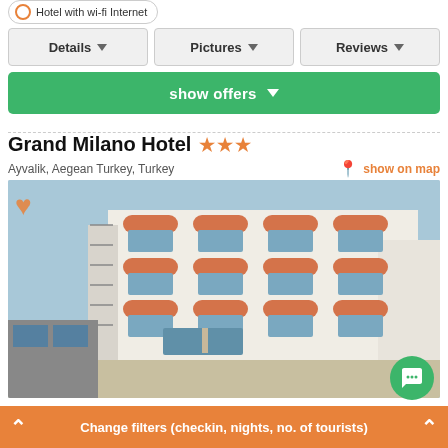Hotel with wi-fi Internet
Details | Pictures | Reviews
show offers
Grand Milano Hotel ★★★
Ayvalik, Aegean Turkey, Turkey
show on map
[Figure (photo): Exterior photo of Grand Milano Hotel, a multi-story white building with orange balcony awnings and blue sky background, located in Ayvalik, Turkey]
Change filters (checkin, nights, no. of tourists)